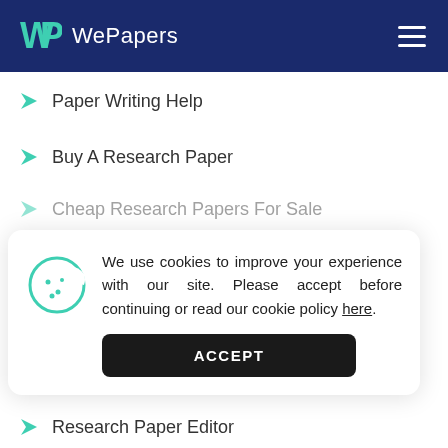WePapers
Paper Writing Help
Buy A Research Paper
Cheap Research Papers For Sale
We use cookies to improve your experience with our site. Please accept before continuing or read our cookie policy here.
Pay For An Essay
Research Paper Editor
Do My Homework For Me